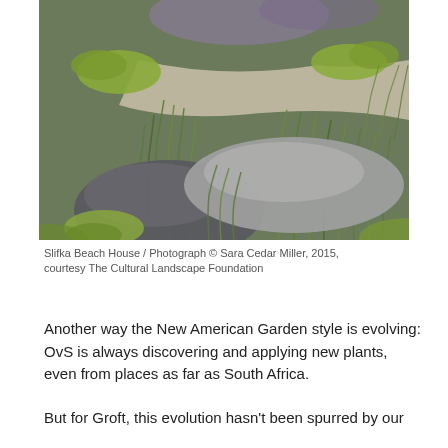[Figure (photo): A garden photo showing ornamental grasses, large boulders, and low shrubs arranged in a naturalistic landscape design at Slifka Beach House.]
Slifka Beach House / Photograph © Sara Cedar Miller, 2015, courtesy The Cultural Landscape Foundation
Another way the New American Garden style is evolving: OvS is always discovering and applying new plants, even from places as far as South Africa.
But for Groft, this evolution hasn't been spurred by our